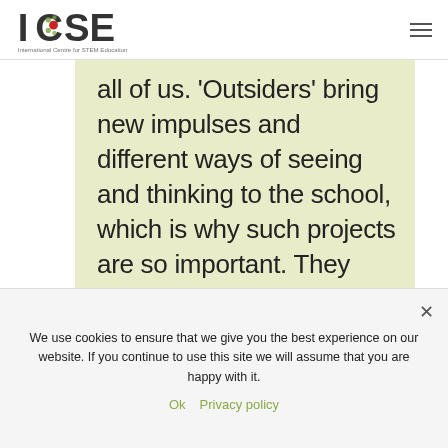ICSE – International Centre for STEM Education
all of us. 'Outsiders' bring new impulses and different ways of seeing and thinking to the school, which is why such projects are so important. They provide
We use cookies to ensure that we give you the best experience on our website. If you continue to use this site we will assume that you are happy with it.
Ok   Privacy policy